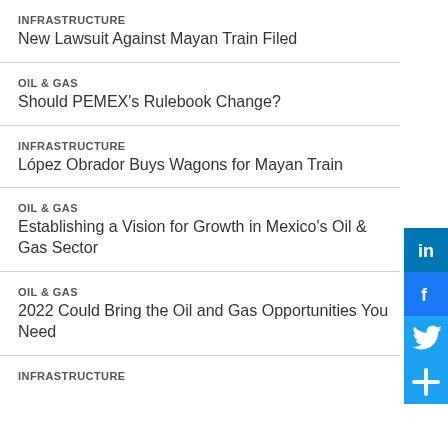INFRASTRUCTURE
New Lawsuit Against Mayan Train Filed
OIL & GAS
Should PEMEX's Rulebook Change?
INFRASTRUCTURE
López Obrador Buys Wagons for Mayan Train
OIL & GAS
Establishing a Vision for Growth in Mexico's Oil & Gas Sector
OIL & GAS
2022 Could Bring the Oil and Gas Opportunities You Need
INFRASTRUCTURE